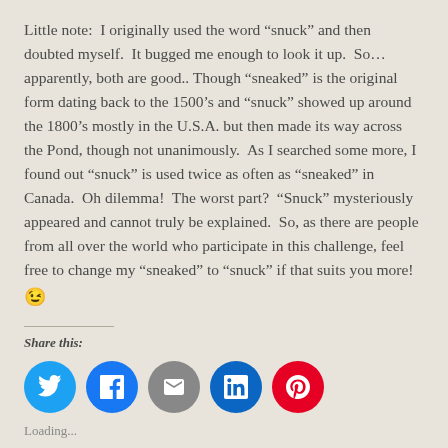Little note:  I originally used the word “snuck” and then doubted myself.  It bugged me enough to look it up.  So… apparently, both are good.. Though “sneaked” is the original form dating back to the 1500’s and “snuck” showed up around the 1800’s mostly in the U.S.A. but then made its way across the Pond, though not unanimously.  As I searched some more, I found out “snuck” is used twice as often as “sneaked” in Canada.  Oh dilemma!  The worst part?  “Snuck” mysteriously appeared and cannot truly be explained.  So, as there are people from all over the world who participate in this challenge, feel free to change my “sneaked” to “snuck” if that suits you more! 😉
Share this:
[Figure (infographic): Social share buttons: Twitter (blue circle), Facebook (blue circle), Email (gray circle), LinkedIn (dark blue circle), Pinterest (red circle)]
Loading...